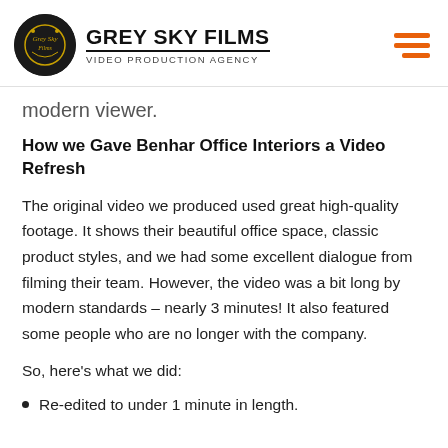GREY SKY FILMS VIDEO PRODUCTION AGENCY
modern viewer.
How we Gave Benhar Office Interiors a Video Refresh
The original video we produced used great high-quality footage. It shows their beautiful office space, classic product styles, and we had some excellent dialogue from filming their team. However, the video was a bit long by modern standards – nearly 3 minutes! It also featured some people who are no longer with the company.
So, here's what we did:
Re-edited to under 1 minute in length.